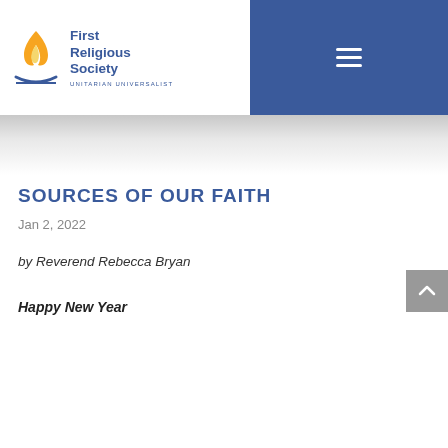[Figure (logo): First Religious Society Unitarian Universalist logo with flame icon and text]
SOURCES OF OUR FAITH
Jan 2, 2022
by Reverend Rebecca Bryan
Happy New Year